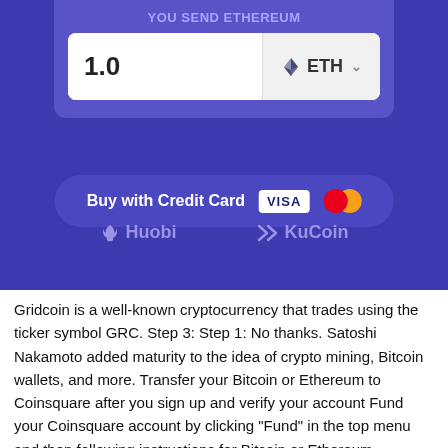[Figure (screenshot): A cryptocurrency exchange UI screenshot showing a 'You Send Ethereum' panel with amount 1.0 ETH, a 'Buy with Credit Card' button with Visa and Mastercard logos, and exchange logos for Huobi and KuCoin, all on a purple/indigo background.]
Gridcoin is a well-known cryptocurrency that trades using the ticker symbol GRC. Step 3: Step 1: No thanks. Satoshi Nakamoto added maturity to the idea of crypto mining, Bitcoin wallets, and more. Transfer your Bitcoin or Ethereum to Coinsquare after you sign up and verify your account Fund your Coinsquare account by clicking "Fund" in the top menu and then following instructions for Bitcoin or Ethereum, whichever one you want to fund with. Recent